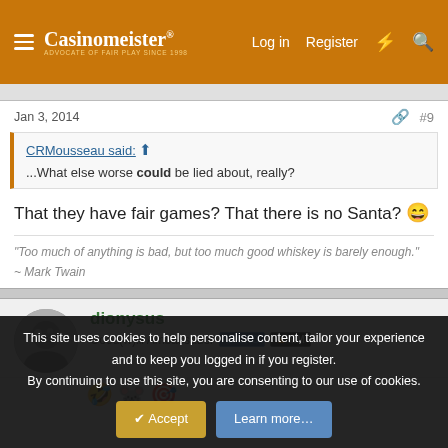Casinomeister — Log in | Register
Jan 3, 2014   #9
CRMousseau said: ↑
...What else worse could be lied about, really?
That they have fair games? That there is no Santa? 😄
"Too much of anything is bad, but too much good whiskey is barely enough."
~ Mark Twain
dionysus
Good(w)ill Ambassador  CAG  MM
This site uses cookies to help personalise content, tailor your experience and to keep you logged in if you register. By continuing to use this site, you are consenting to our use of cookies.